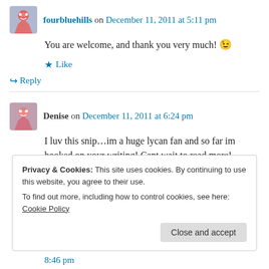fourbluehills on December 11, 2011 at 5:11 pm
You are welcome, and thank you very much! 😉
★ Like
↪ Reply
Denise on December 11, 2011 at 6:24 pm
I luv this snip…im a huge lycan fan and so far im hooked on yoyr writing! Cant wait to read more!
Privacy & Cookies: This site uses cookies. By continuing to use this website, you agree to their use. To find out more, including how to control cookies, see here: Cookie Policy
Close and accept
8:46 pm